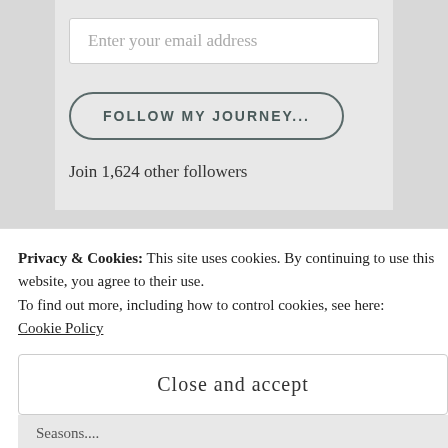Enter your email address
FOLLOW MY JOURNEY...
Join 1,624 other followers
TOP POSTS & PAGES
Privacy & Cookies: This site uses cookies. By continuing to use this website, you agree to their use.
To find out more, including how to control cookies, see here:
Cookie Policy
Close and accept
Seasons....